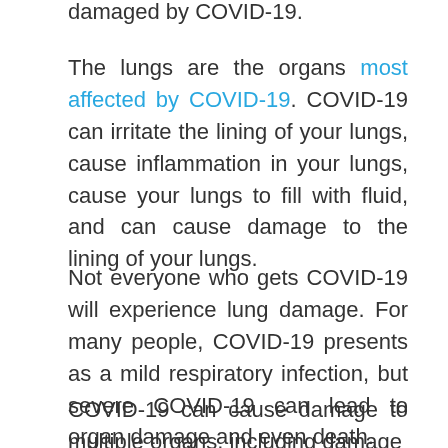damaged by COVID-19.
The lungs are the organs most affected by COVID-19. COVID-19 can irritate the lining of your lungs, cause inflammation in your lungs, cause your lungs to fill with fluid, and can cause damage to the lining of your lungs.
Not everyone who gets COVID-19 will experience lung damage. For many people, COVID-19 presents as a mild respiratory infection, but severe COVID-19 can lead to organ damage and even death.
COVID-19 can cause damage to multiple organs, including damage